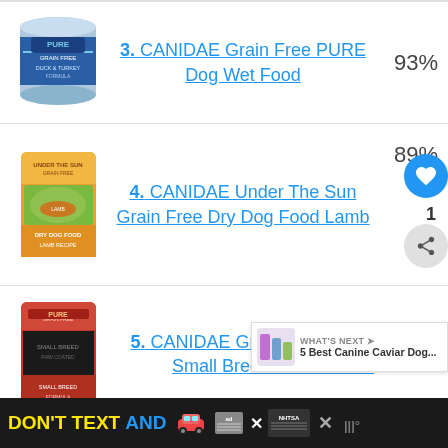3. CANIDAE Grain Free PURE Dog Wet Food
4. CANIDAE Under The Sun Grain Free Dry Dog Food Lamb
5. CANIDAE Grain Free Pure Petite Small Breed Raw Coated
[Figure (screenshot): Advertisement banner: DON'T TEXT AND [car emoji] with ad badge and NHTSA logo]
WHAT'S NEXT → 5 Best Canine Caviar Dog...